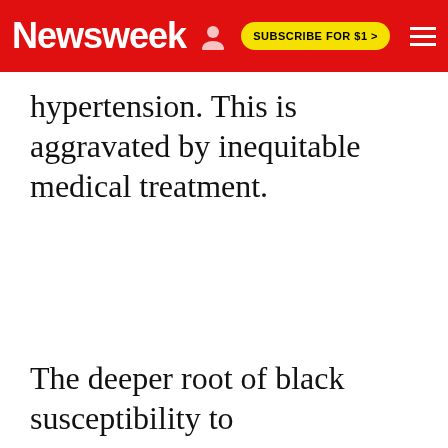Newsweek | SUBSCRIBE FOR $1 >
hypertension. This is aggravated by inequitable medical treatment.
The deeper root of black susceptibility to